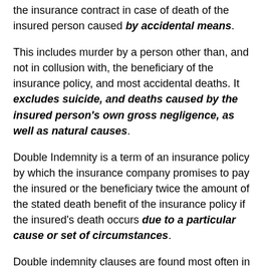the insurance contract in case of death of the insured person caused by accidental means.
This includes murder by a person other than, and not in collusion with, the beneficiary of the insurance policy, and most accidental deaths. It excludes suicide, and deaths caused by the insured person's own gross negligence, as well as natural causes.
Double Indemnity is a term of an insurance policy by which the insurance company promises to pay the insured or the beneficiary twice the amount of the stated death benefit of the insurance policy if the insured's death occurs due to a particular cause or set of circumstances.
Double indemnity clauses are found most often in life insurance plans.
Double indemnity does not cover natural death or one that results due to natural causes, such as aging, or a health condition, suicide, and gross negligence. Thus, it covers murder of the insured committed by a person other than the beneficiary of the policy and accidents, e.g. car accidents.
People who are employed in high risk jobs often do not qualify